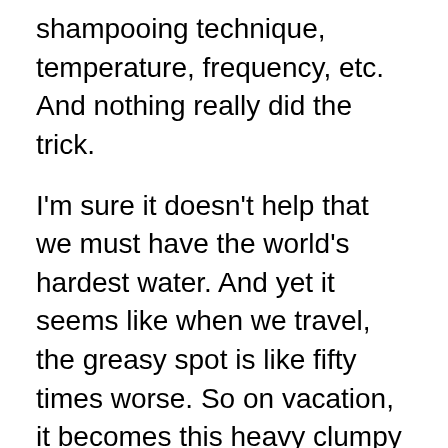shampooing technique, temperature, frequency, etc. And nothing really did the trick.
I'm sure it doesn't help that we must have the world's hardest water. And yet it seems like when we travel, the greasy spot is like fifty times worse. So on vacation, it becomes this heavy clumpy mess and I have to wear it in a ponytail the whole time!  (I bet you had no idea my hair was this gross.  Well, I'm good at hiding it.  And I exaggerate.  A little.)